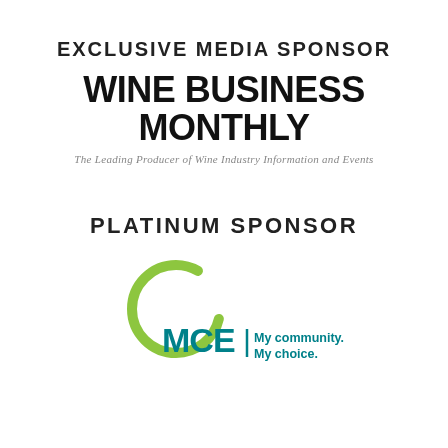EXCLUSIVE MEDIA SPONSOR
WINE BUSINESS MONTHLY
The Leading Producer of Wine Industry Information and Events
PLATINUM SPONSOR
[Figure (logo): MCE logo: green arc circle above 'MCE' in teal text, with vertical bar and 'My community. My choice.' tagline in teal]